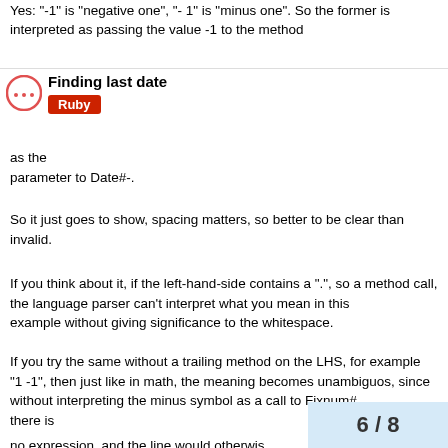Yes: "-1" is "negative one", "- 1" is "minus one". So the former is interpreted as passing the value -1 to the method
Finding last date
Ruby
as the parameter to Date#-.
So it just goes to show, spacing matters, so better to be clear than invalid.
If you think about it, if the left-hand-side contains a ".", so a method call, the language parser can't interpret what you mean in this example without giving significance to the whitespace.
If you try the same without a trailing method on the LHS, for example “1 -1”, then just like in math, the meaning becomes unambiguos, since without interpreting the minus symbol as a call to Fixnum# there is no expression, and the line would otherwis
6 / 8